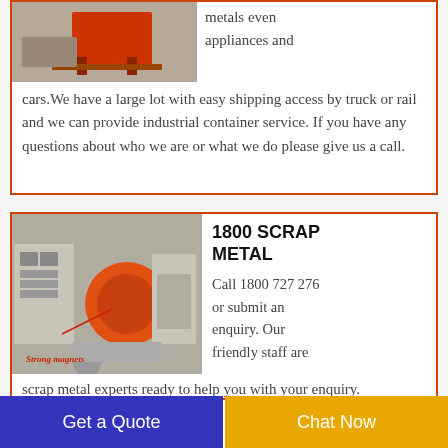[Figure (photo): Photo of industrial red metal frame equipment]
metals even appliances and cars. We have a large lot with easy shipping access by truck or rail and we can provide industrial container service. If you have any questions about who we are or what we do please give us a call.
[Figure (photo): Photo of scrap metal shredding/granulating machine with label 'Strong magnets']
1800 SCRAP METAL
Call 1800 727 276 or submit an enquiry. Our friendly staff are scrap metal experts ready to help you with your enquiry.
Get a Quote
Chat Now